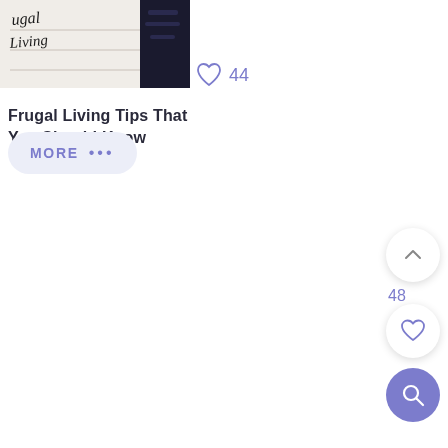[Figure (screenshot): Partial thumbnail image showing handwritten text 'Frugal Living' on paper with a dark background]
44
Frugal Living Tips That You Should Know
[Figure (other): MORE button with three dots (ellipsis) in a light purple/lavender pill-shaped button]
[Figure (other): Upward chevron arrow in a white circular button on the right side]
48
[Figure (other): Heart icon in a white circular button on the right side]
[Figure (other): Search/magnifying glass icon in a purple filled circular button on the right side]